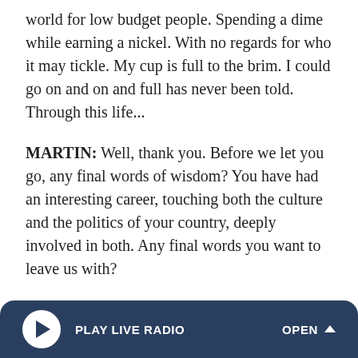world for low budget people. Spending a dime while earning a nickel. With no regards for who it may tickle. My cup is full to the brim. I could go on and on and full has never been told. Through this life...
MARTIN: Well, thank you. Before we let you go, any final words of wisdom? You have had an interesting career, touching both the culture and the politics of your country, deeply involved in both. Any final words you want to leave us with?
SEAGA: I think that the accomplishment that's taken place over the last 50 years in Jamaica's history, of these accomplishments, our music has been the greatest because it has made our brand name throughout the world. There is no...
PLAY LIVE RADIO   OPEN